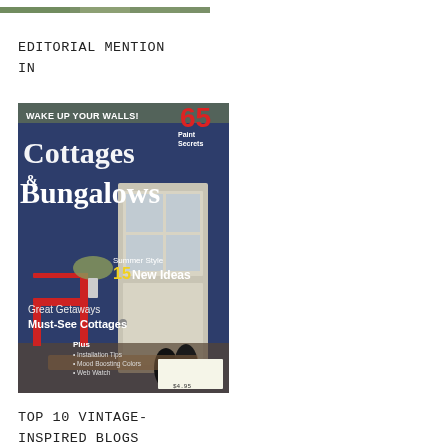[Figure (photo): Partial top edge of a garden/outdoor photo — cropped at top of page]
EDITORIAL MENTION
IN
[Figure (photo): Magazine cover of Cottages & Bungalows. Cover text: WAKE UP YOUR WALLS! 65 Paint Secrets; Cottages & Bungalows; Summer Style 15 New Ideas; Great Getaways Must-See Cottages; Plus: Installation Tips, Mood-Boosting Colors, Web Watch]
TOP 10 VINTAGE-
INSPIRED BLOGS